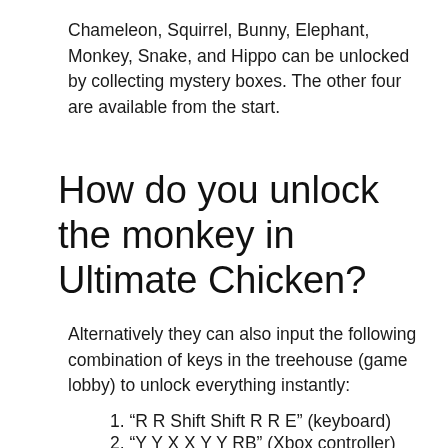Chameleon, Squirrel, Bunny, Elephant, Monkey, Snake, and Hippo can be unlocked by collecting mystery boxes. The other four are available from the start.
How do you unlock the monkey in Ultimate Chicken?
Alternatively they can also input the following combination of keys in the treehouse (game lobby) to unlock everything instantly:
1. “R R Shift Shift R R E” (keyboard)
2. “Y Y X X Y Y RB” (Xbox controller)